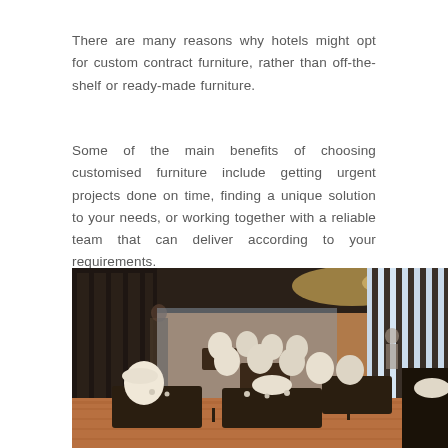There are many reasons why hotels might opt for custom contract furniture, rather than off-the-shelf or ready-made furniture.
Some of the main benefits of choosing customised furniture include getting urgent projects done on time, finding a unique solution to your needs, or working together with a reliable team that can deliver according to your requirements.
[Figure (photo): Interior of a hotel restaurant dining area with dark wood tables set with plates and glassware, cream/white upholstered chairs, dark paneled walls, warm ceiling lighting, and large floor-to-ceiling windows on the right side letting in natural light. Hardwood floors visible.]